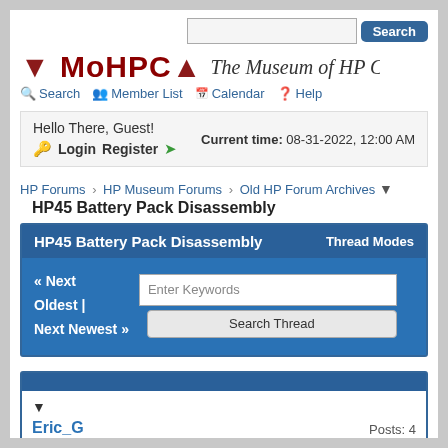MoHPCA — The Museum of HP Calculators
Hello There, Guest! Current time: 08-31-2022, 12:00 AM Login Register
HP Forums › HP Museum Forums › Old HP Forum Archives
HP45 Battery Pack Disassembly
HP45 Battery Pack Disassembly — Thread Modes
« Next Oldest | Next Newest »
Eric_G   Posts: 4